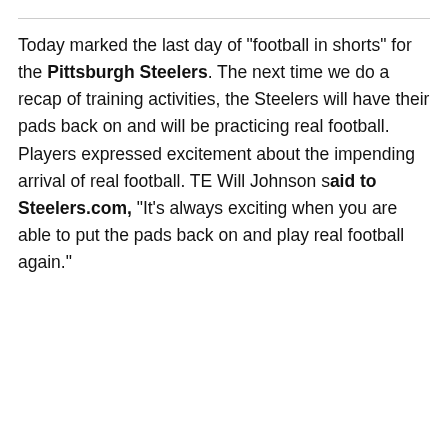Today marked the last day of "football in shorts" for the Pittsburgh Steelers. The next time we do a recap of training activities, the Steelers will have their pads back on and will be practicing real football.  Players expressed excitement about the impending arrival of real football. TE Will Johnson said to Steelers.com, "It's always exciting when you are able to put the pads back on and play real football again."